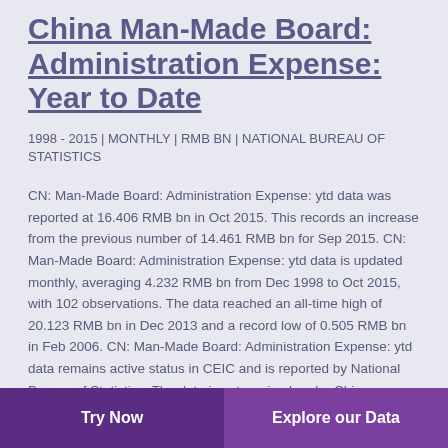China Man-Made Board: Administration Expense: Year to Date
1998 - 2015 | MONTHLY | RMB BN | NATIONAL BUREAU OF STATISTICS
CN: Man-Made Board: Administration Expense: ytd data was reported at 16.406 RMB bn in Oct 2015. This records an increase from the previous number of 14.461 RMB bn for Sep 2015. CN: Man-Made Board: Administration Expense: ytd data is updated monthly, averaging 4.232 RMB bn from Dec 1998 to Oct 2015, with 102 observations. The data reached an all-time high of 20.123 RMB bn in Dec 2013 and a record low of 0.505 RMB bn in Feb 2006. CN: Man-Made Board: Administration Expense: ytd data remains active status in CEIC and is reported by National Bureau of Statistics. The data is categorized under China Premium Database's Industrial Sector – Table CN.BHJ:
Try Now | Explore our Data